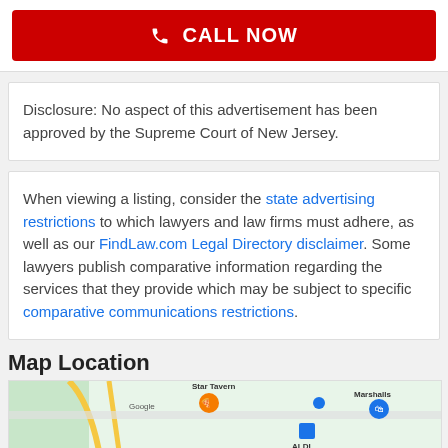[Figure (other): Red CALL NOW button with phone icon]
Disclosure: No aspect of this advertisement has been approved by the Supreme Court of New Jersey.
When viewing a listing, consider the state advertising restrictions to which lawyers and law firms must adhere, as well as our FindLaw.com Legal Directory disclaimer. Some lawyers publish comparative information regarding the services that they provide which may be subject to specific comparative communications restrictions.
Map Location
[Figure (map): Google Maps view showing Star Tavern, Marshalls, and ALDI locations]